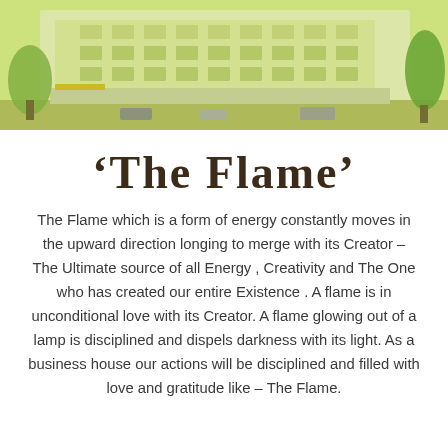[Figure (photo): Photograph of a multi-storey building exterior with green tones and trees, shown as a banner at the top of the page.]
‘The Flame’
The Flame which is a form of energy constantly moves in the upward direction longing to merge with its Creator – The Ultimate source of all Energy , Creativity and The One who has created our entire Existence . A flame is in unconditional love with its Creator. A flame glowing out of a lamp is disciplined and dispels darkness with its light. As a business house our actions will be disciplined and filled with love and gratitude like – The Flame.